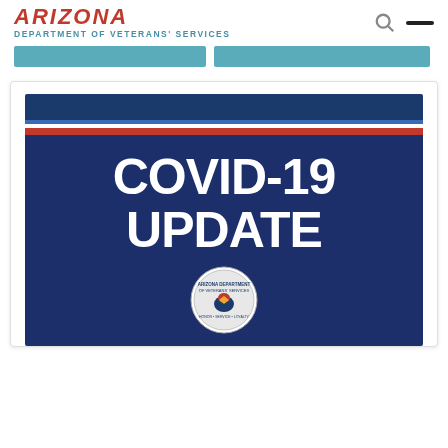ARIZONA DEPARTMENT OF VETERANS' SERVICES
[Figure (screenshot): Arizona Department of Veterans' Services website screenshot showing navigation bar with teal buttons, and a COVID-19 UPDATE announcement banner with dark navy blue background, white bold text reading COVID-19 UPDATE, red and blue stripes, and the department seal at the bottom]